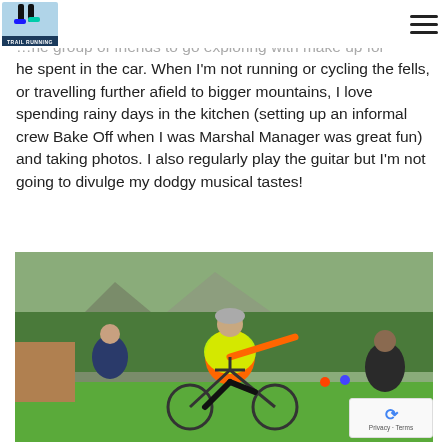Trail Running logo and navigation menu
…he group of friends to go exploring with make up for he spent in the car. When I'm not running or cycling the fells, or travelling further afield to bigger mountains, I love spending rainy days in the kitchen (setting up an informal crew Bake Off when I was Marshal Manager was great fun) and taking photos. I also regularly play the guitar but I'm not going to divulge my dodgy musical tastes!
[Figure (photo): A man wearing an orange t-shirt, yellow high-visibility vest, and a cycling helmet, riding a bicycle on a grass field at a trail running event. He is smiling and gesturing with one arm outstretched. Two other people are visible in the background, with green trees and a mountain behind.]